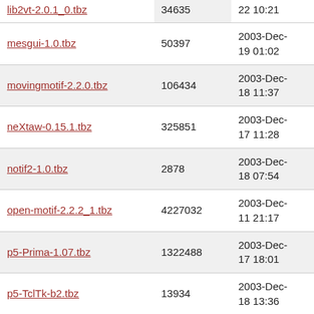| Name | Size | Date |
| --- | --- | --- |
| lib2vt-2.0.1_0.tbz (partial) | 34635 | 22 10:21 (partial) |
| mesgui-1.0.tbz | 50397 | 2003-Dec-19 01:02 |
| movingmotif-2.2.0.tbz | 106434 | 2003-Dec-18 11:37 |
| neXtaw-0.15.1.tbz | 325851 | 2003-Dec-17 11:28 |
| notif2-1.0.tbz | 2878 | 2003-Dec-18 07:54 |
| open-motif-2.2.2_1.tbz | 4227032 | 2003-Dec-11 21:17 |
| p5-Prima-1.07.tbz | 1322488 | 2003-Dec-17 18:01 |
| p5-TclTk-b2.tbz | 13934 | 2003-Dec-18 13:36 |
| pango-1.2.5.tbz | 512997 | 2003-Dec-11 21:17 |
| php-gtk-1.0.0.tbz | 323206 | 2003-Dec-24 00:45 |
| plib-1.7.0_1.tbz | 490858 | 2003-Dec-17 17:08 |
| (partial).tbz (partial) | 153634 (partial) | 2003-Dec- (partial) |